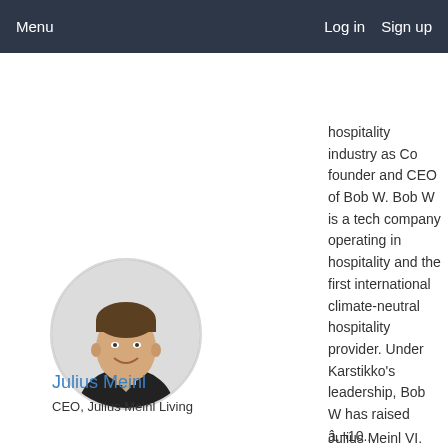Menu    Log in  Sign up
hospitality industry as Co founder and CEO of Bob W. Bob W is a tech company operating in hospitality and the first international climate-neutral hospitality provider. Under Karstikko's leadership, Bob W has raised â,¬10...
Read More →
[Figure (photo): Circular portrait photo of Julius Meinl, a young man in a suit, smiling, black and white style]
Julius Meinl
CEO, Julius Meinl Living
Julius Meinl VI. has over 10 years of